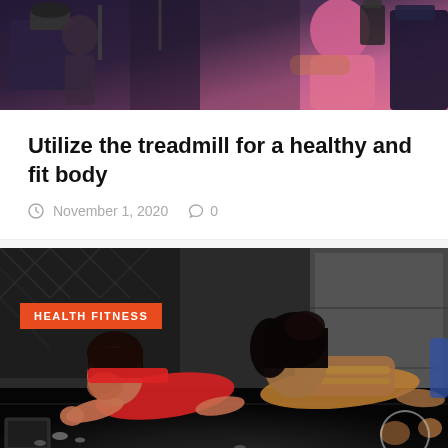[Figure (photo): Gym scene with people exercising on fitness equipment, partial view showing a woman in a pink top]
Utilize the treadmill for a healthy and fit body
November 1, 2020  0
[Figure (photo): Two people (man in red tank top and woman in yellow sports bra) doing plank exercises on a dark gym floor. Orange badge reading HEALTH FITNESS overlaid in upper left.]